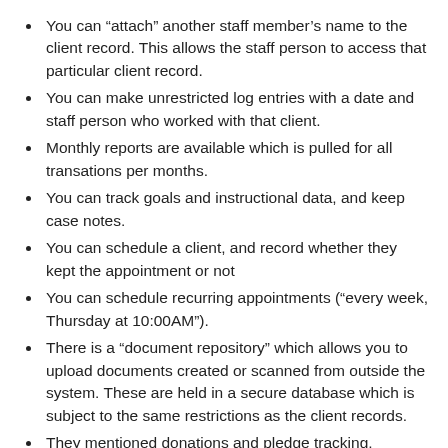You can “attach” another staff member’s name to the client record. This allows the staff person to access that particular client record.
You can make unrestricted log entries with a date and staff person who worked with that client.
Monthly reports are available which is pulled for all transations per months.
You can track goals and instructional data, and keep case notes.
You can schedule a client, and record whether they kept the appointment or not
You can schedule recurring appointments (“every week, Thursday at 10:00AM”).
There is a “document repository” which allows you to upload documents created or scanned from outside the system. These are held in a secure database which is subject to the same restrictions as the client records.
They mentioned donations and pledge tracking, however, this wasn’t demonstrated in the online